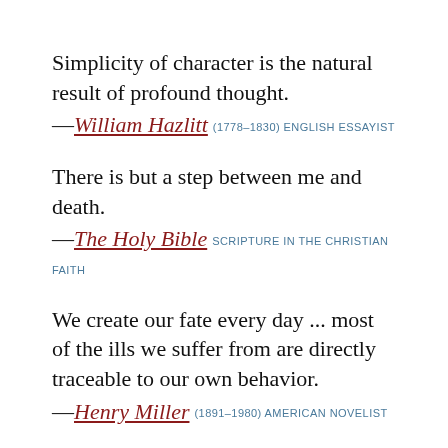Simplicity of character is the natural result of profound thought.
—William Hazlitt (1778–1830) ENGLISH ESSAYIST
There is but a step between me and death.
—The Holy Bible SCRIPTURE IN THE CHRISTIAN FAITH
We create our fate every day ... most of the ills we suffer from are directly traceable to our own behavior.
—Henry Miller (1891–1980) AMERICAN NOVELIST
Gladly accept the gifts of the present hour.
—Horace (Quintus Horatius Flaccus) (65–8 BCE)